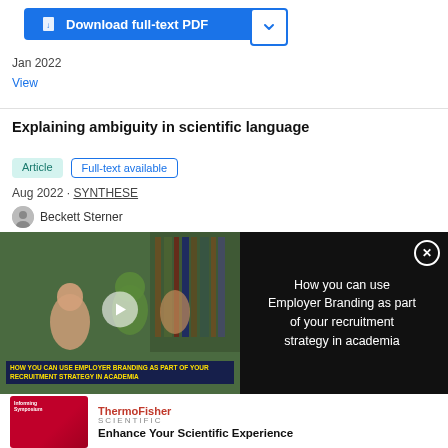[Figure (screenshot): Blue Download full-text PDF button with document icon, and a dropdown arrow button]
Jan 2022
View
Explaining ambiguity in scientific language
Article   Full-text available
Aug 2022 · SYNTHESE
Beckett Sterner
[Figure (screenshot): Video overlay showing students in a library, with title 'HOW YOU CAN USE EMPLOYER BRANDING AS PART OF YOUR RECRUITMENT STRATEGY IN ACADEMIA' and right panel with text 'How you can use Employer Branding as part of your recruitment strategy in academia' on black background with close button]
[Figure (screenshot): ThermoFisher Scientific advertisement with red image on left and text 'Enhance Your Scientific Experience']